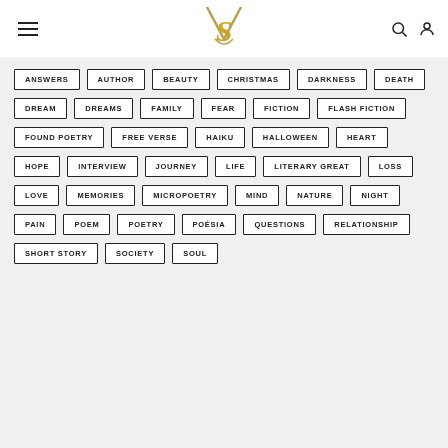S (logo)
ANSWERS
AUTHOR
BEAUTY
CHRISTMAS
DARKNESS
DEATH
DREAM
DREAMS
FAMILY
FEAR
FICTION
FLASH FICTION
FOUND POETRY
FREE VERSE
HAIKU
HALLOWEEN
HEART
HOPE
INTERVIEW
JOURNEY
LIFE
LITERARY GREAT
LOSS
LOVE
MEMORIES
MICROPOETRY
MIND
NATURE
NIGHT
PAIN
POEM
POETRY
POÉSIA
QUESTIONS
RELATIONSHIP
SHORT STORY
SOCIETY
SOUL